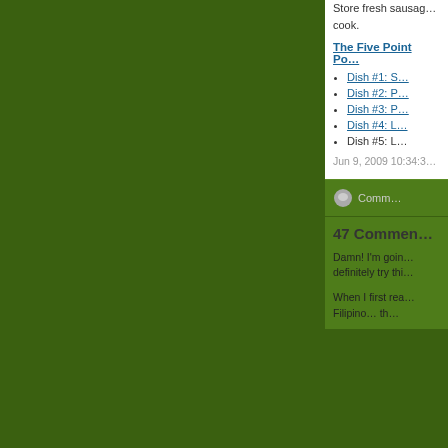Store fresh sausage... cook.
The Five Point Po...
Dish #1: S...
Dish #2: P...
Dish #3: P...
Dish #4: L...
Dish #5: L...
Jun 9, 2009 10:34:3...
Comm...
47 Commen...
Damn! I'm goin... definitely try thi...
When I first rea... Filipino... th...